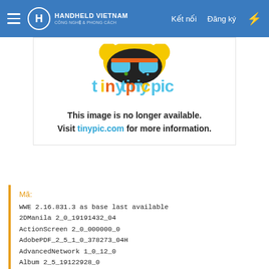HANDHELD VIETNAM | Kết nối | Đăng ký
[Figure (illustration): Tinypic mascot with the tinypic logo and the message: This image is no longer available. Visit tinypic.com for more information.]
Mã:
WWE 2.16.831.3 as base last available
2DManila 2_0_19191432_04
ActionScreen 2_0_000000_0
AdobePDF_2_5_1_0_378273_04H
AdvancedNetwork 1_0_12_0
Album 2_5_19122928_0
App_Service 1_66_0_0
Audio_Booster 2_5_19122928_0